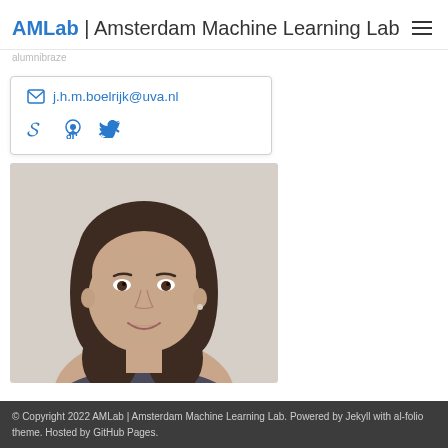AMLab | Amsterdam Machine Learning Lab
j.h.m.boelrijk@uva.nl
[Figure (photo): Profile photo of a young woman with dark hair, smiling, against a light background]
© Copyright 2022 AMLab | Amsterdam Machine Learning Lab. Powered by Jekyll with al-folio theme. Hosted by GitHub Pages.